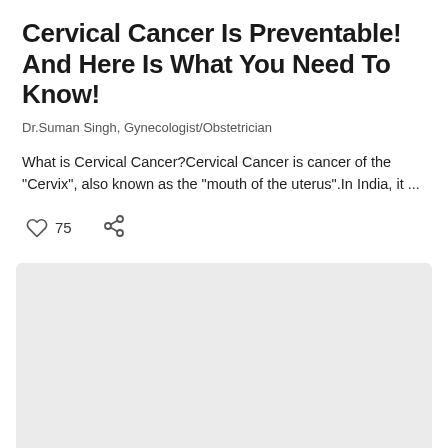Cervical Cancer Is Preventable! And Here Is What You Need To Know!
Dr.Suman Singh, Gynecologist/Obstetrician
What is Cervical Cancer?Cervical Cancer is cancer of the &#34;Cervix&#34;, also known as the &#34;mouth of the uterus&#34;.In India, it ...
[Figure (other): Light gray placeholder image block at the bottom of the page]